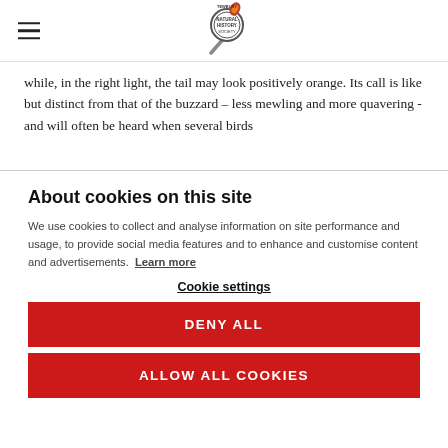Tewbury Natural History Society logo and hamburger menu
while, in the right light, the tail may look positively orange. Its call is like but distinct from that of the buzzard – less mewling and more quavering - and will often be heard when several birds
About cookies on this site
We use cookies to collect and analyse information on site performance and usage, to provide social media features and to enhance and customise content and advertisements.  Learn more
Cookie settings
DENY ALL
ALLOW ALL COOKIES